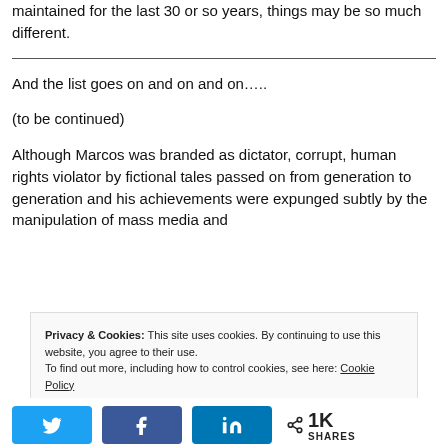maintained for the last 30 or so years, things may be so much different.
And the list goes on and on and on…..
(to be continued)
Although Marcos was branded as dictator, corrupt, human rights violator by fictional tales passed on from generation to generation and his achievements were expunged subtly by the manipulation of mass media and
Privacy & Cookies: This site uses cookies. By continuing to use this website, you agree to their use. To find out more, including how to control cookies, see here: Cookie Policy
1K SHARES